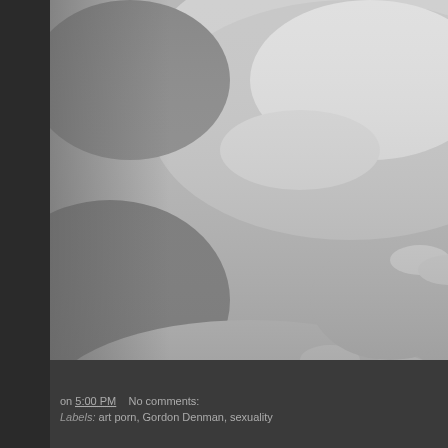[Figure (photo): Black and white close-up photograph of hands touching skin, showing fingers with manicured nails pressed against a body]
on 5:00 PM    No comments:
Labels: art porn, Gordon Denman, sexuality